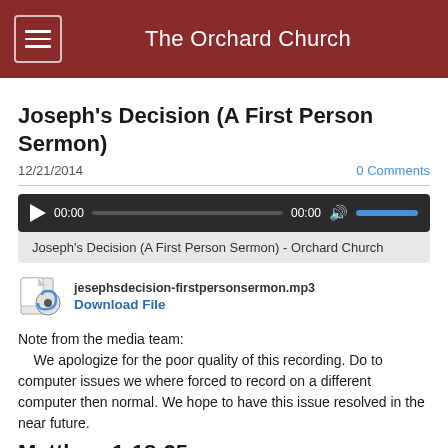The Orchard Church
Joseph's Decision (A First Person Sermon)
12/21/2014
0 Comments
[Figure (screenshot): Audio player widget showing 00:00 time, progress bar, volume control with blue fill bar, and subtitle 'Joseph's Decision (A First Person Sermon) - Orchard Church']
jesephsdecision-firstpersonsermon.mp3
Download File
Note from the media team:
   We apologize for the poor quality of this recording. Do to computer issues we where forced to record on a different computer then normal. We hope to have this issue resolved in the near future.
Matthew 1:18-25
Holman Christian Standard Bible (HCSB)